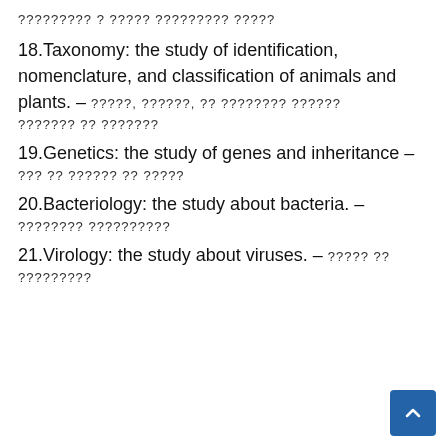[unreadable characters] [unreadable characters] [unreadable characters] [unreadable characters]
18.Taxonomy: the study of identification, nomenclature, and classification of animals and plants. – [unreadable] [unreadable] [unreadable] [unreadable] [unreadable]
19.Genetics: the study of genes and inheritance – [unreadable] [unreadable] [unreadable]
20.Bacteriology: the study about bacteria. – [unreadable] [unreadable]
21.Virology: the study about viruses. – [unreadable] [unreadable]